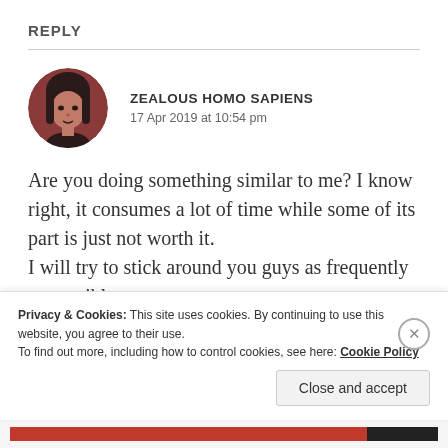REPLY
ZEALOUS HOMO SAPIENS
17 Apr 2019 at 10:54 pm
Are you doing something similar to me? I know right, it consumes a lot of time while some of its part is just not worth it.
I will try to stick around you guys as frequently as possible
Privacy & Cookies: This site uses cookies. By continuing to use this website, you agree to their use.
To find out more, including how to control cookies, see here: Cookie Policy
Close and accept